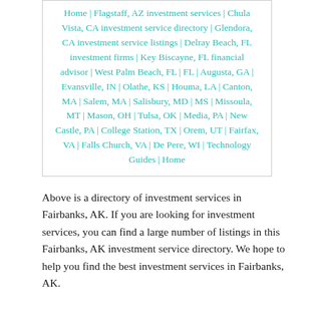Home | Flagstaff, AZ investment services | Chula Vista, CA investment service directory | Glendora, CA investment service listings | Delray Beach, FL investment firms | Key Biscayne, FL financial advisor | West Palm Beach, FL | FL | Augusta, GA | Evansville, IN | Olathe, KS | Houma, LA | Canton, MA | Salem, MA | Salisbury, MD | MS | Missoula, MT | Mason, OH | Tulsa, OK | Media, PA | New Castle, PA | College Station, TX | Orem, UT | Fairfax, VA | Falls Church, VA | De Pere, WI | Technology Guides | Home
Above is a directory of investment services in Fairbanks, AK. If you are looking for investment services, you can find a large number of listings in this Fairbanks, AK investment service directory. We hope to help you find the best investment services in Fairbanks, AK.